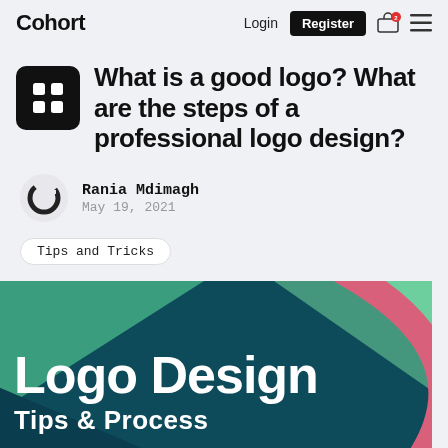Cohort  Login  Register
What is a good logo? What are the steps of a professional logo design?
Rania Mdimagh
May 19, 2021
Tips and Tricks
[Figure (illustration): Hero banner for article about Logo Design Tips and Process, with teal/dark teal background and geometric shapes including a pink arc and green triangular shapes, white bold text 'Logo Design' and subtitle 'Tips & Process']